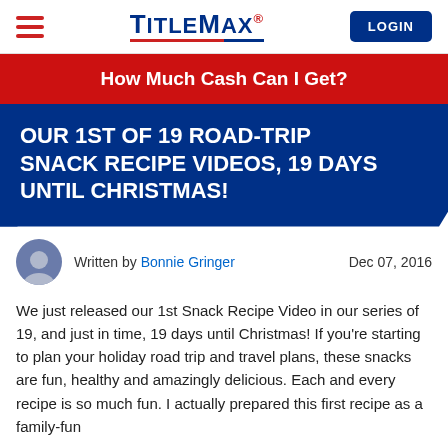TitleMax | LOGIN
How Much Cash Can I Get?
OUR 1ST OF 19 ROAD-TRIP SNACK RECIPE VIDEOS, 19 DAYS UNTIL CHRISTMAS!
Written by Bonnie Gringer   Dec 07, 2016
We just released our 1st Snack Recipe Video in our series of 19, and just in time, 19 days until Christmas! If you're starting to plan your holiday road trip and travel plans, these snacks are fun, healthy and amazingly delicious. Each and every recipe is so much fun. I actually prepared this first recipe as a family-fun